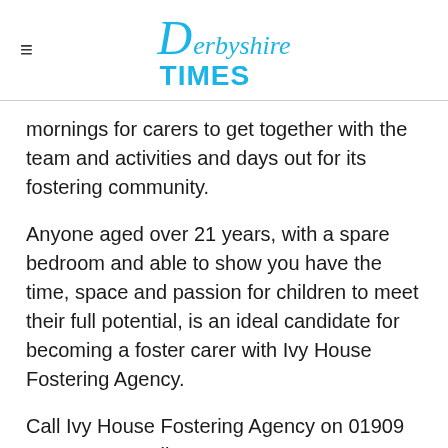Derbyshire Times
mornings for carers to get together with the team and activities and days out for its fostering community.
Anyone aged over 21 years, with a spare bedroom and able to show you have the time, space and passion for children to meet their full potential, is an ideal candidate for becoming a foster carer with Ivy House Fostering Agency.
Call Ivy House Fostering Agency on 01909 768318 or email info@ivyhousefostering.co.uk